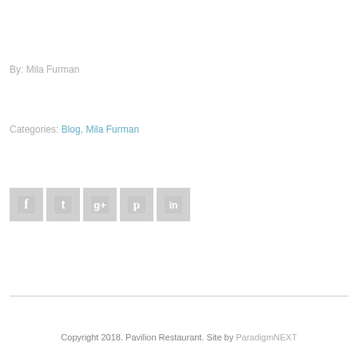By: Mila Furman
Categories: Blog, Mila Furman
[Figure (other): Social media share icons: Facebook, Twitter, Google+, Pinterest, LinkedIn — all in light grey]
Copyright 2018. Pavilion Restaurant. Site by ParadigmNEXT